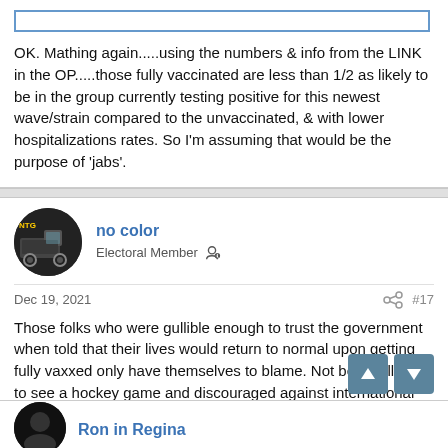OK. Mathing again.....using the numbers & info from the LINK in the OP.....those fully vaccinated are less than 1/2 as likely to be in the group currently testing positive for this newest wave/strain compared to the unvaccinated, & with lower hospitalizations rates. So I'm assuming that would be the purpose of 'jabs'.
no color
Electoral Member
Dec 19, 2021  #17
Those folks who were gullible enough to trust the government when told that their lives would return to normal upon getting fully vaxxed only have themselves to blame. Not being allowed to see a hockey game and discouraged against international travel is not my idea of things returning to normal. So despite being fully vaxxed, the government is still penalizing these folks. It doesn't get any worse.
Ron in Regina